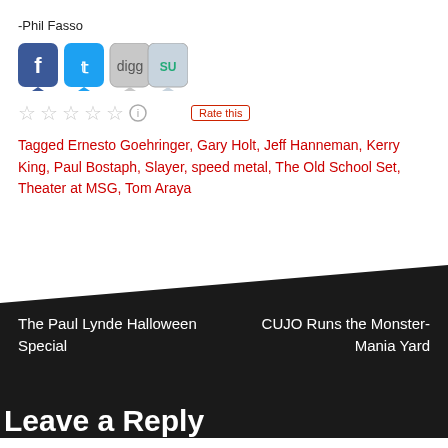-Phil Fasso
[Figure (other): Social media sharing icons: Facebook, Twitter, Digg, StumbleUpon]
[Figure (other): Five-star rating widget with empty stars and Rate this button]
Tagged Ernesto Goehringer, Gary Holt, Jeff Hanneman, Kerry King, Paul Bostaph, Slayer, speed metal, The Old School Set, Theater at MSG, Tom Araya
The Paul Lynde Halloween Special
CUJO Runs the Monster-Mania Yard
Leave a Reply